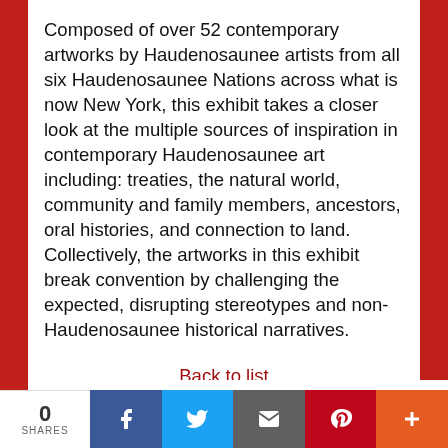Composed of over 52 contemporary artworks by Haudenosaunee artists from all six Haudenosaunee Nations across what is now New York, this exhibit takes a closer look at the multiple sources of inspiration in contemporary Haudenosaunee art including: treaties, the natural world, community and family members, ancestors, oral histories, and connection to land. Collectively, the artworks in this exhibit break convention by challenging the expected, disrupting stereotypes and non-Haudenosaunee historical narratives.
Back to list
10:00 AM - 4:00 PM, October 26
Collection Highlights: 5,500 Years of Art
0 SHARES | Facebook | Twitter | Email | Pinterest | +